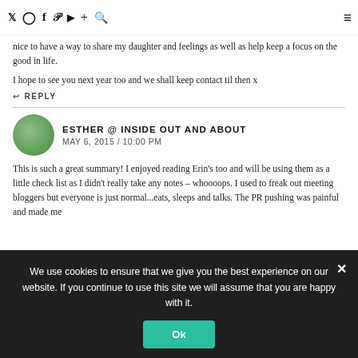Twitter Instagram Facebook Pinterest YouTube + Search [hamburger menu]
nice to have a way to share my daughter and feelings as well as help keep a focus on the good in life.
I hope to see you next year too and we shall keep contact til then x
REPLY
ESTHER @ INSIDE OUT AND ABOUT
MAY 6, 2015 / 10:00 PM
This is such a great summary! I enjoyed reading Erin's too and will be using them as a little check list as I didn't really take any notes – whoooops. I used to freak out meeting bloggers but everyone is just normal...eats, sleeps and talks. The PR pushing was painful and made me
We use cookies to ensure that we give you the best experience on our website. If you continue to use this site we will assume that you are happy with it.
Ok